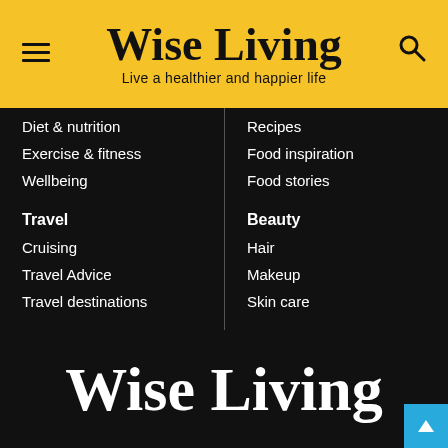Wise Living — Live a healthier and happier life
Diet & nutrition
Exercise & fitness
Wellbeing
Travel
Cruising
Travel Advice
Travel destinations
Recipes
Food inspiration
Food stories
Beauty
Hair
Makeup
Skin care
Wise Living